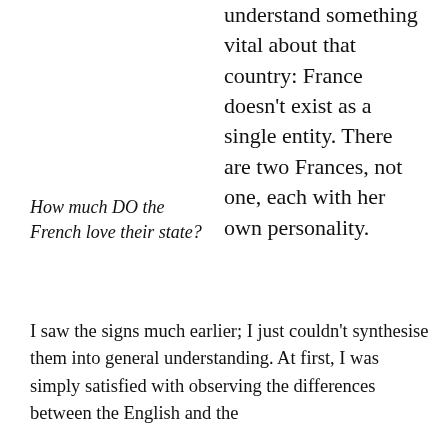understand something vital about that country: France doesn't exist as a single entity. There are two Frances, not one, each with her own personality.
How much DO the French love their state?
I saw the signs much earlier; I just couldn't synthesise them into general understanding. At first, I was simply satisfied with observing the differences between the English and the